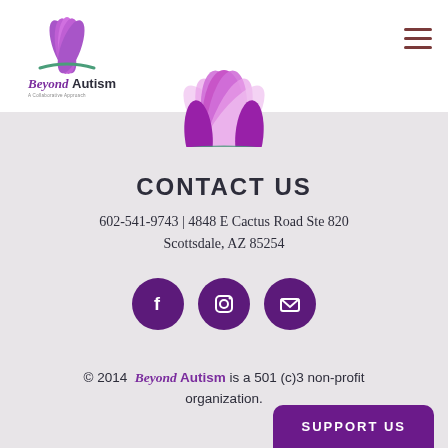[Figure (logo): BeyondAutism logo with lotus flower and text 'BeyondAutism A Collaborative Approach']
[Figure (illustration): Large pink/purple lotus flower illustration centered at top of page]
CONTACT US
602-541-9743 | 4848 E Cactus Road Ste 820 Scottsdale, AZ 85254
[Figure (infographic): Three purple circular social media icons: Facebook (f), Instagram (camera), Email (envelope)]
© 2014  Beyond Autism is a 501 (c)3 non-profit organization.
SUPPORT US